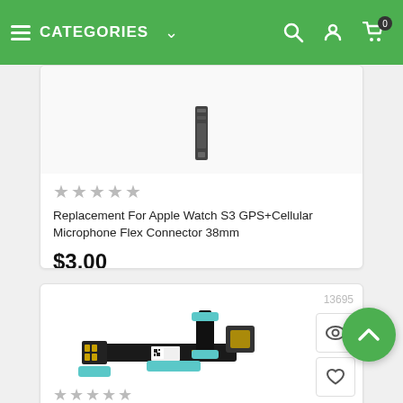CATEGORIES
[Figure (photo): Small electronic component (Apple Watch microphone flex connector) shown as product image at top of card]
★★★★★ (empty stars)
Replacement For Apple Watch S3 GPS+Cellular Microphone Flex Connector 38mm
$3.00
13695
[Figure (photo): Flex cable/ribbon connector component for a smartphone, with QR code label, shown on white background]
★★★★★ (empty stars)